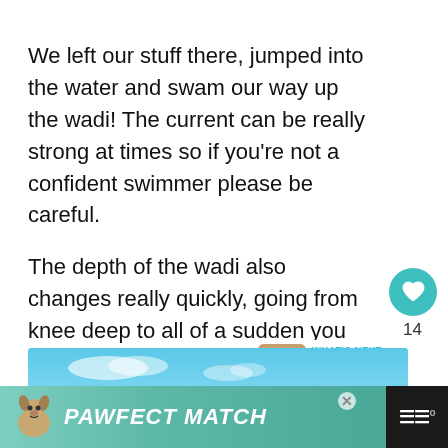We left our stuff there, jumped into the water and swam our way up the wadi! The current can be really strong at times so if you're not a confident swimmer please be careful.
The depth of the wadi also changes really quickly, going from knee deep to all of a sudden you not being able to touch the bottom anymore.
[Figure (screenshot): Partial photo of blue sky with clouds, cropped at bottom of visible area]
[Figure (infographic): WHAT'S NEXT arrow label with thumbnail image and text: Wadi Bani Khalid, Oma...]
[Figure (infographic): Advertisement banner: PAWFECT MATCH with dog illustration on teal/green background, close button X, and streaming service logo]